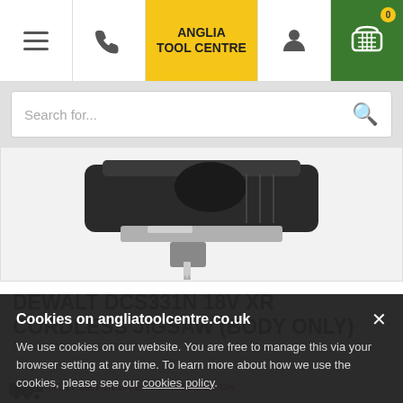Anglia Tool Centre — navigation bar with hamburger menu, phone, logo, user account, and shopping cart (0 items)
[Figure (screenshot): Search bar with placeholder text 'Search for...' and magnifying glass icon on grey background]
[Figure (photo): Partial product photo of DeWalt DCS331N 18V XR Cordless Jigsaw showing the blade end of a black cordless jigsaw against white background]
DEWALT DCS331N 18V XR CORDLESS JIGSAW (BODY ONLY)
SKU: DEWALT/DCS331N
[Figure (screenshot): Cookie consent banner on angliatoolcentre.co.uk reading: 'Cookies on angliatoolcentre.co.uk — We use cookies on our website. You are free to manage this via your browser setting at any time. To learn more about how we use the cookies, please see our cookies policy.' with a close (×) button.]
NEXT DAY DELIVERY AVAILABLE ON